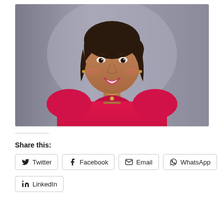[Figure (photo): Professional headshot of a young woman with dark hair, wearing a bright pink/red top and a gold necklace, smiling, against a grey background.]
Share this:
Twitter
Facebook
Email
WhatsApp
LinkedIn